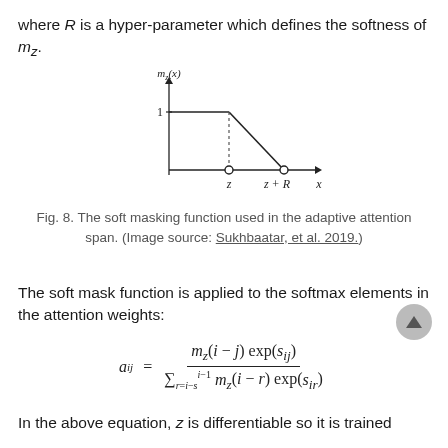where R is a hyper-parameter which defines the softness of m_z.
[Figure (other): Graph of the soft masking function m_z(x). The y-axis shows m_z(x) with value 1 marked. The x-axis shows x with points z and z+R marked. The function is 1 for x <= z, then linearly decreases from 1 to 0 between z and z+R, shown with a dotted drop line at z and open circles at z and z+R.]
Fig. 8. The soft masking function used in the adaptive attention span. (Image source: Sukhbaatar, et al. 2019.)
The soft mask function is applied to the softmax elements in the attention weights:
In the above equation, z is differentiable so it is trained